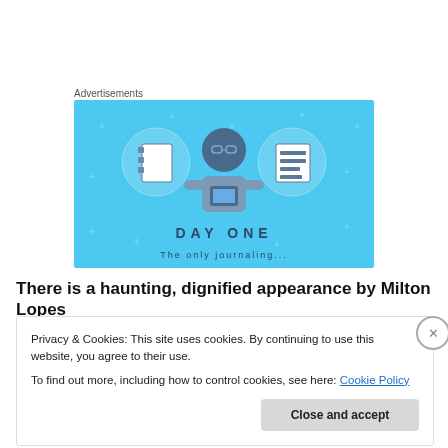Advertisements
[Figure (illustration): Day One app advertisement with blue background showing a person holding a phone flanked by two circular icons of notebooks, with text DAY ONE at the bottom]
There is a haunting, dignified appearance by Milton Lopes
Privacy & Cookies: This site uses cookies. By continuing to use this website, you agree to their use.
To find out more, including how to control cookies, see here: Cookie Policy
Close and accept